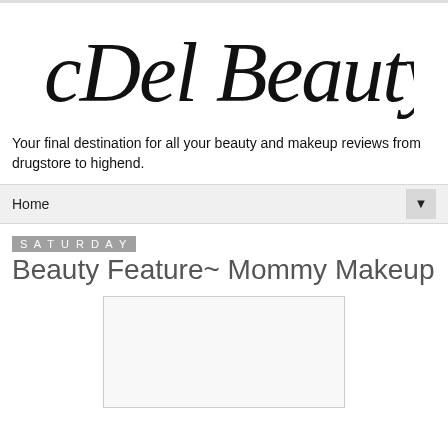[Figure (logo): CDel Beauty cursive script logo in black]
Your final destination for all your beauty and makeup reviews from drugstore to highend.
Home
Saturday
Beauty Feature~ Mommy Makeup
[Figure (photo): Image placeholder box, light gray background]